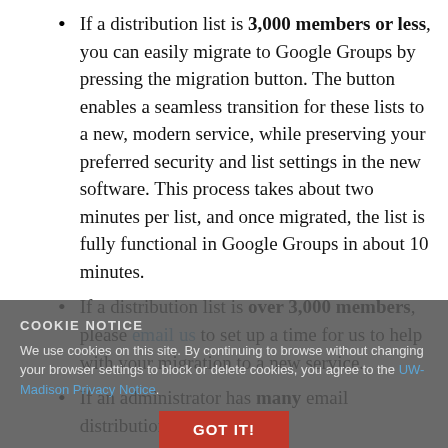If a distribution list is 3,000 members or less, you can easily migrate to Google Groups by pressing the migration button. The button enables a seamless transition for these lists to a new, modern service, while preserving your preferred security and list settings in the new software. This process takes about two minutes per list, and once migrated, the list is fully functional in Google Groups in about 10 minutes.
If a distribution list is over 3,000 members, please email us to set up a time for us to help with your migration to a new service.
If an administrator has many email distribution
COOKIE NOTICE
We use cookies on this site. By continuing to browse without changing your browser settings to block or delete cookies, you agree to the UW-Madison Privacy Notice.
GOT IT!